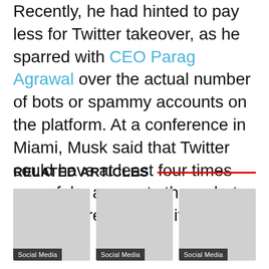Recently, he had hinted to pay less for Twitter takeover, as he sparred with CEO Parag Agrawal over the actual number of bots or spammy accounts on the platform. At a conference in Miami, Musk said that Twitter could have at least four times more fake accounts than what has been revealed in its filing.
RELATED ARTICLES
[Figure (photo): Related article card 1 - Social Media category]
[Figure (photo): Related article card 2 - Social Media category]
[Figure (photo): Related article card 3 - Social Media category]